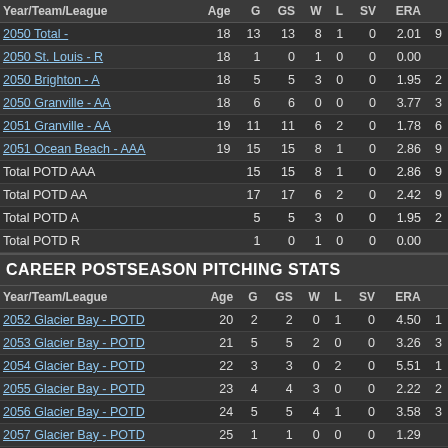| Year/Team/League | Age | G | GS | W | L | SV | ERA |
| --- | --- | --- | --- | --- | --- | --- | --- |
| 2050 Total - | 18 | 13 | 13 | 8 | 1 | 0 | 2.01 | 9 |
| 2050 St. Louis - R | 18 | 1 | 0 | 1 | 0 | 0 | 0.00 |  |
| 2050 Brighton - A | 18 | 5 | 5 | 3 | 0 | 0 | 1.95 | 2 |
| 2050 Granville - AA | 18 | 6 | 6 | 0 | 0 | 0 | 3.77 | 3 |
| 2051 Granville - AA | 19 | 11 | 11 | 6 | 2 | 0 | 1.78 | 6 |
| 2051 Ocean Beach - AAA | 19 | 15 | 15 | 8 | 1 | 0 | 2.86 | 9 |
| Total POTD AAA |  | 15 | 15 | 8 | 1 | 0 | 2.86 | 9 |
| Total POTD AA |  | 17 | 17 | 6 | 2 | 0 | 2.42 | 9 |
| Total POTD A |  | 5 | 5 | 3 | 0 | 0 | 1.95 | 2 |
| Total POTD R |  | 1 | 0 | 1 | 0 | 0 | 0.00 |  |
CAREER POSTSEASON PITCHING STATS
| Year/Team/League | Age | G | GS | W | L | SV | ERA |
| --- | --- | --- | --- | --- | --- | --- | --- |
| 2052 Glacier Bay - POTD | 20 | 2 | 2 | 0 | 1 | 0 | 4.50 | 1 |
| 2053 Glacier Bay - POTD | 21 | 5 | 5 | 2 | 0 | 0 | 3.26 | 3 |
| 2054 Glacier Bay - POTD | 22 | 3 | 3 | 0 | 2 | 0 | 5.51 | 1 |
| 2055 Glacier Bay - POTD | 23 | 4 | 4 | 3 | 0 | 0 | 2.22 | 2 |
| 2056 Glacier Bay - POTD | 24 | 5 | 5 | 4 | 1 | 0 | 3.58 | 3 |
| 2057 Glacier Bay - POTD | 25 | 1 | 1 | 0 | 0 | 0 | 1.29 |  |
| 2060 Glacier Bay - POTD | 28 | 5 | 5 | 5 | 0 | 0 | 2.38 | 3 |